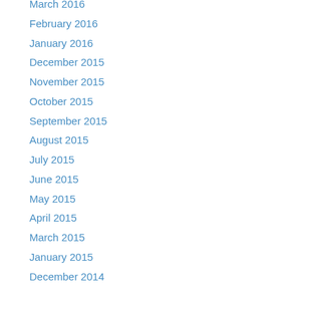March 2016
February 2016
January 2016
December 2015
November 2015
October 2015
September 2015
August 2015
July 2015
June 2015
May 2015
April 2015
March 2015
January 2015
December 2014